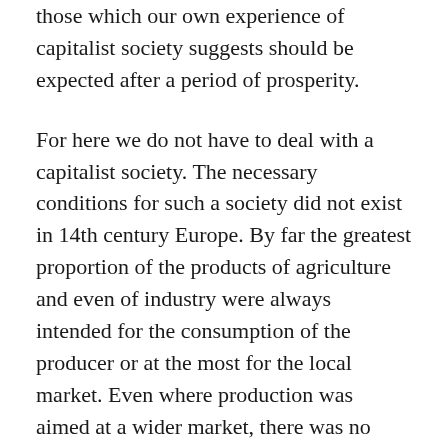those which our own experience of capitalist society suggests should be expected after a period of prosperity.
For here we do not have to deal with a capitalist society. The necessary conditions for such a society did not exist in 14th century Europe. By far the greatest proportion of the products of agriculture and even of industry were always intended for the consumption of the producer or at the most for the local market. Even where production was aimed at a wider market, there was no clear distinction between the capitalist owner of the means of production and the wage earner who had nothing to sell but his labour power. It is true that there were enormous accumulations of merchant capital, made in the course of the circulation of commodities